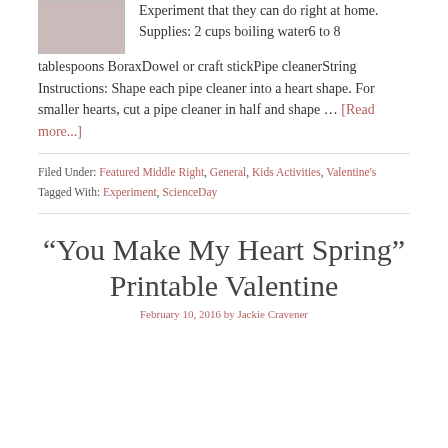Experiment that they can do right at home. Supplies: 2 cups boiling water6 to 8 tablespoons BoraxDowel or craft stickPipe cleanerString Instructions: Shape each pipe cleaner into a heart shape. For smaller hearts, cut a pipe cleaner in half and shape … [Read more...]
Filed Under: Featured Middle Right, General, Kids Activities, Valentine's
Tagged With: Experiment, ScienceDay
“You Make My Heart Spring” Printable Valentine
February 10, 2016 by Jackie Cravener